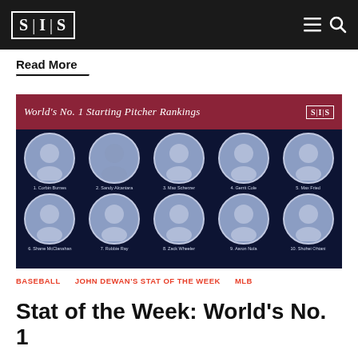SIS
Read More
[Figure (infographic): World's No. 1 Starting Pitcher Rankings infographic showing 10 MLB pitchers in two rows: 1. Corbin Burnes, 2. Sandy Alcantara, 3. Max Scherzer, 4. Gerrit Cole, 5. Max Fried, 6. Shane McClanahan, 7. Robbie Ray, 8. Zack Wheeler, 9. Aaron Nola, 10. Shohei Ohtani]
BASEBALL    JOHN DEWAN'S STAT OF THE WEEK    MLB
Stat of the Week: World's No. 1